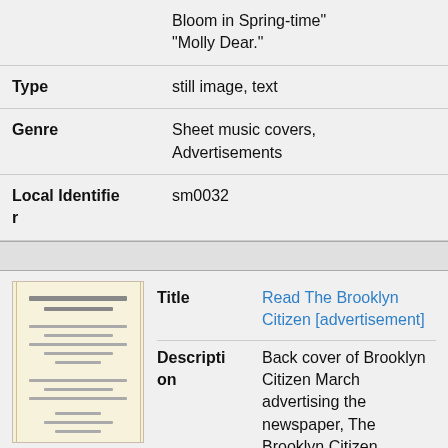| Field | Value |
| --- | --- |
|  | Bloom in Spring-time" "Molly Dear." |
| Type | still image, text |
| Genre | Sheet music covers, Advertisements |
| Local Identifier | sm0032 |
| Thumbnail | Field | Value |
| --- | --- | --- |
| [image] | Title | Read The Brooklyn Citizen [advertisement] |
|  | Description | Back cover of Brooklyn Citizen March advertising the newspaper, The Brooklyn Citizen. Sample text, "Read The Brooklyn Citizen... |